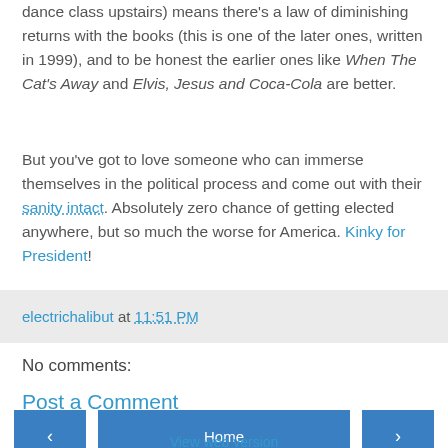dance class upstairs) means there's a law of diminishing returns with the books (this is one of the later ones, written in 1999), and to be honest the earlier ones like When The Cat's Away and Elvis, Jesus and Coca-Cola are better.
But you've got to love someone who can immerse themselves in the political process and come out with their sanity intact. Absolutely zero chance of getting elected anywhere, but so much the worse for America. Kinky for President!
electrichalibut at 11:51 PM
No comments:
Post a Comment
Home
View web version